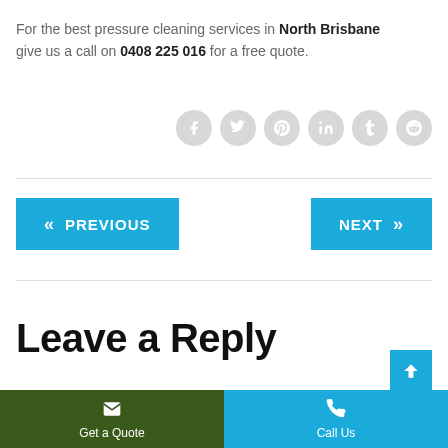For the best pressure cleaning services in North Brisbane give us a call on 0408 225 016 for a free quote.
[Figure (other): Six social media share icon circles (Facebook, Twitter, Pinterest, LinkedIn, Tumblr, Reddit) in light grey]
« PREVIOUS   NEXT »
Leave a Reply
Get a Quote
Call Us